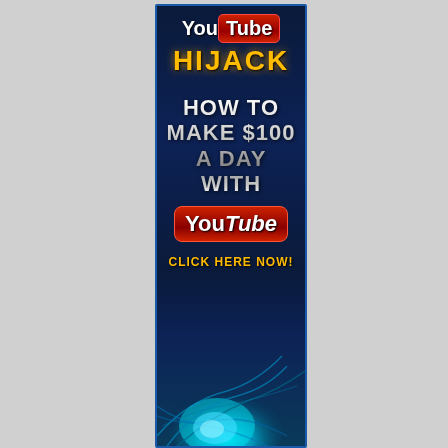[Figure (illustration): YouTube Hijack promotional banner advertisement. Dark navy blue background with blue border. Top section shows YouTube logo with 'You' in white text and 'Tube' in red box, below it 'HIJACK' in large gold/yellow bold text. Middle section shows 'HOW TO MAKE $100 A DAY WITH' in large silver metallic bold text. Below that a YouTube logo in a red rounded rectangle. Then 'CLICK HERE NOW!' in gold/yellow text. Bottom has a cyan/turquoise swirling light design.]